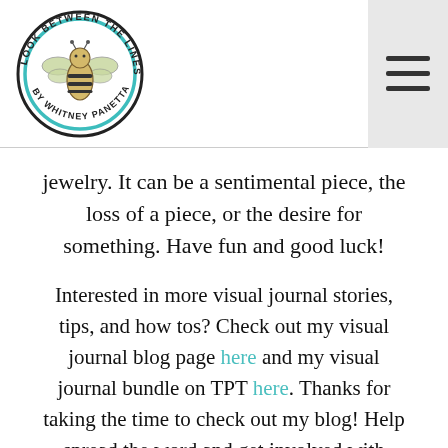[Figure (logo): Circular logo for 'Look Between the Lines by Whitney Panetta' featuring an illustrated bee in the center with teal and black border text around the circle.]
jewelry. It can be a sentimental piece, the loss of a piece, or the desire for something. Have fun and good luck!
Interested in more visual journal stories, tips, and how tos? Check out my visual journal blog page here and my visual journal bundle on TPT here. Thanks for taking the time to check out my blog! Help spread the word and get involved with visual journaling by following,